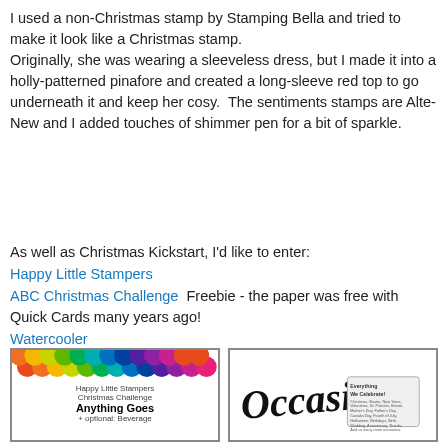I used a non-Christmas stamp by Stamping Bella and tried to make it look like a Christmas stamp.
Originally, she was wearing a sleeveless dress, but I made it into a holly-patterned pinafore and created a long-sleeve red top to go underneath it and keep her cosy.  The sentiments stamps are Alte-New and I added touches of shimmer pen for a bit of sparkle.
As well as Christmas Kickstart, I'd like to enter:
Happy Little Stampers
ABC Christmas Challenge  Freebie - the paper was free with Quick Cards many years ago!
Watercooler
[Figure (illustration): Happy Little Stampers Christmas Challenge - Anything Goes + optional: Beverage badge with rainbow circles at top]
[Figure (illustration): Occasions stamp logo with cursive text and a scroll listing occasions celebrated]